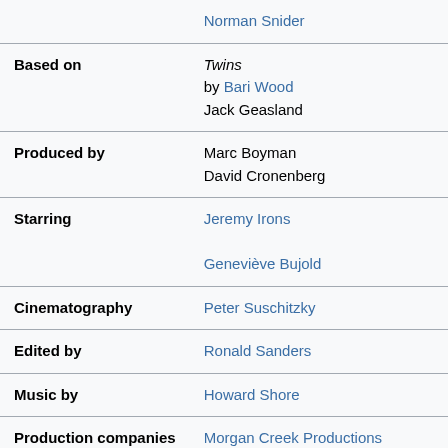| Field | Value |
| --- | --- |
|  | Norman Snider |
| Based on | Twins
by Bari Wood
Jack Geasland |
| Produced by | Marc Boyman
David Cronenberg |
| Starring | Jeremy Irons
Geneviève Bujold |
| Cinematography | Peter Suschitzky |
| Edited by | Ronald Sanders |
| Music by | Howard Shore |
| Production companies | Morgan Creek Productions
Telefilm Canada
Mantle Clinic II |